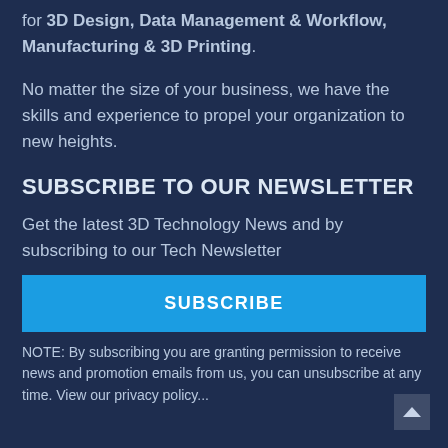for 3D Design, Data Management & Workflow, Manufacturing & 3D Printing.
No matter the size of your business, we have the skills and experience to propel your organization to new heights.
SUBSCRIBE TO OUR NEWSLETTER
Get the latest 3D Technology News and by subscribing to our Tech Newsletter
SUBSCRIBE
NOTE: By subscribing you are granting permission to receive news and promotion emails from us, you can unsubscribe at any time. View our privacy policy...